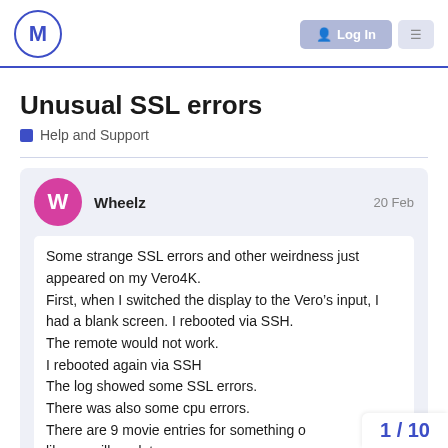M (logo) | Log In
Unusual SSL errors
Help and Support
Wheelz  20 Feb
Some strange SSL errors and other weirdness just appeared on my Vero4K.
First, when I switched the display to the Vero’s input, I had a blank screen. I rebooted via SSH.
The remote would not work.
I rebooted again via SSH
The log showed some SSL errors.
There was also some cpu errors.
There are 9 movie entries for something o... library, will no date.
1 / 10